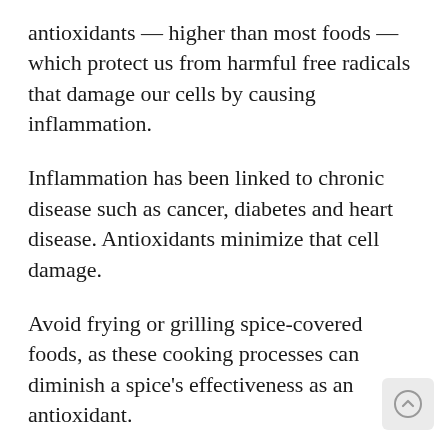antioxidants — higher than most foods — which protect us from harmful free radicals that damage our cells by causing inflammation.
Inflammation has been linked to chronic disease such as cancer, diabetes and heart disease. Antioxidants minimize that cell damage.
Avoid frying or grilling spice-covered foods, as these cooking processes can diminish a spice's effectiveness as an antioxidant.
Simmering, stewing or microwaving are better for keeping the beneficial properties intact.